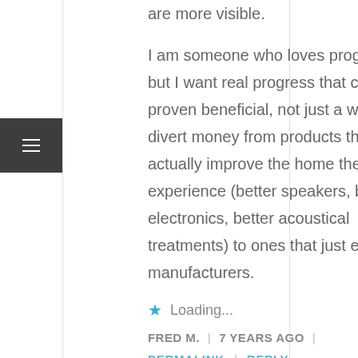are more visible.
I am someone who loves progress — but I want real progress that can be proven beneficial, not just a way to divert money from products that actually improve the home theater experience (better speakers, better electronics, better acoustical treatments) to ones that just enrich manufacturers.
★ Loading...
FRED M. | 7 YEARS AGO |
PERMALINK | REPLY
[Figure (photo): Profile photo of a man with beard against dark background]